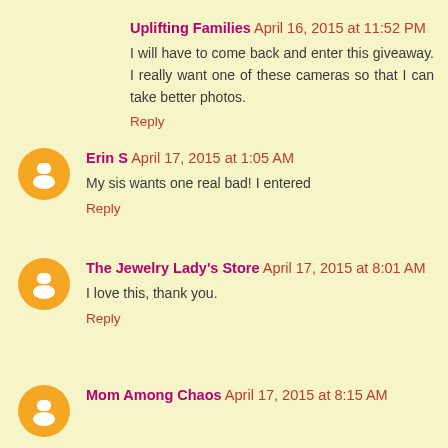Uplifting Families April 16, 2015 at 11:52 PM
I will have to come back and enter this giveaway. I really want one of these cameras so that I can take better photos.
Reply
Erin S April 17, 2015 at 1:05 AM
My sis wants one real bad! I entered
Reply
The Jewelry Lady's Store April 17, 2015 at 8:01 AM
I love this, thank you.
Reply
Mom Among Chaos April 17, 2015 at 8:15 AM